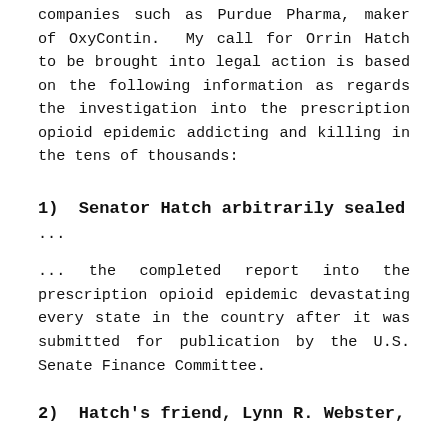companies such as Purdue Pharma, maker of OxyContin. My call for Orrin Hatch to be brought into legal action is based on the following information as regards the investigation into the prescription opioid epidemic addicting and killing in the tens of thousands:
1)  Senator Hatch arbitrarily sealed
...
... the completed report into the prescription opioid epidemic devastating every state in the country after it was submitted for publication by the U.S. Senate Finance Committee.
2)  Hatch's friend, Lynn R. Webster,